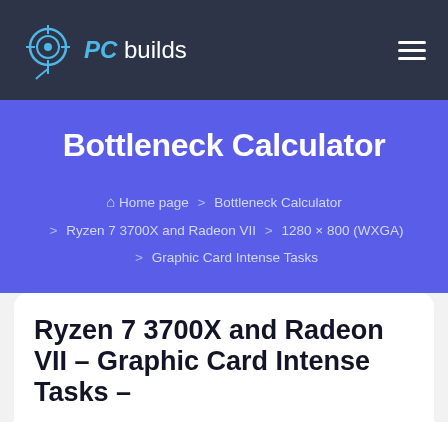PC builds
Bottleneck Calculator
Home page > Bottleneck Calculator > Ryzen 7 3700X and Radeon VII > 1280 × 800 (WXGA) > Graphic Card Intense Tasks
Ryzen 7 3700X and Radeon VII – Graphic Card Intense Tasks –